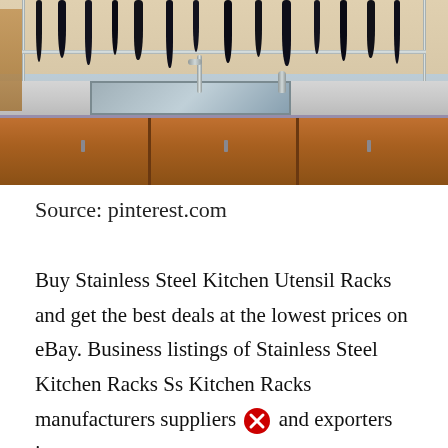[Figure (photo): Photo of a stainless steel kitchen sink with a chrome rack overhead holding black kitchen utensils (spatulas, ladles, spoons), with a soap dispenser and faucet visible, and wooden cabinetry below a gray speckled countertop.]
Source: pinterest.com
Buy Stainless Steel Kitchen Utensil Racks and get the best deals at the lowest prices on eBay. Business listings of Stainless Steel Kitchen Racks Ss Kitchen Racks manufacturers suppliers and exporters in